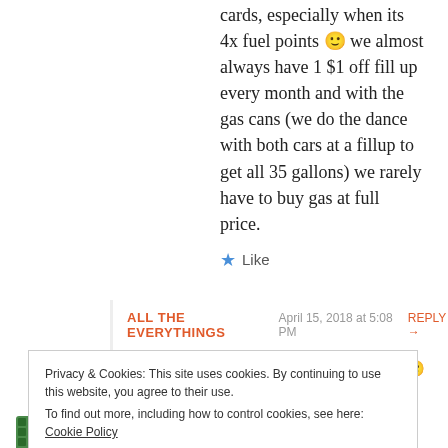cards, especially when its 4x fuel points 🙂 we almost always have 1 $1 off fill up every month and with the gas cans (we do the dance with both cars at a fillup to get all 35 gallons) we rarely have to buy gas at full price.
★ Like
ALL THE EVERYTHINGS   April 15, 2018 at 5:08 PM   REPLY →
We do that as well! Nice work! 🙂
★ Like
Privacy & Cookies: This site uses cookies. By continuing to use this website, you agree to their use. To find out more, including how to control cookies, see here: Cookie Policy
Close and accept
I'm so confused!! I have 20 cent savings from